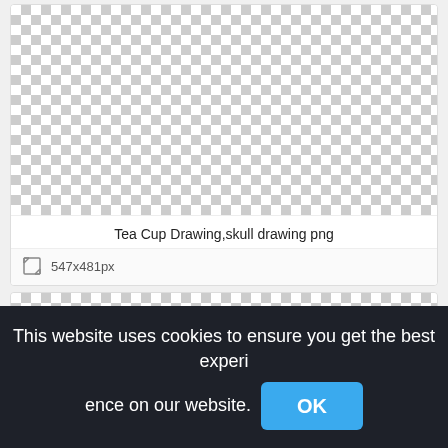[Figure (other): Transparent checkerboard pattern placeholder image area (top card)]
Tea Cup Drawing,skull drawing png
547x481px
[Figure (other): Transparent checkerboard pattern placeholder image area (bottom card, partially visible)]
This website uses cookies to ensure you get the best experience on our website.
OK